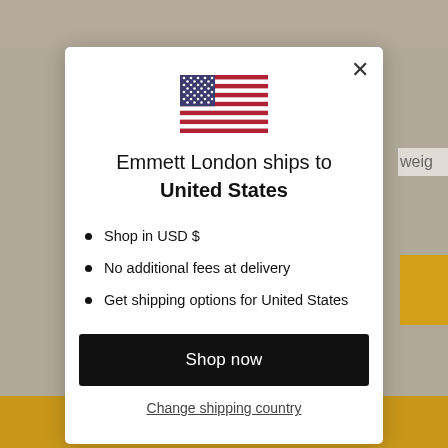[Figure (illustration): US flag emoji/icon centered at top of modal dialog]
Emmett London ships to United States
Shop in USD $
No additional fees at delivery
Get shipping options for United States
Shop now
Change shipping country